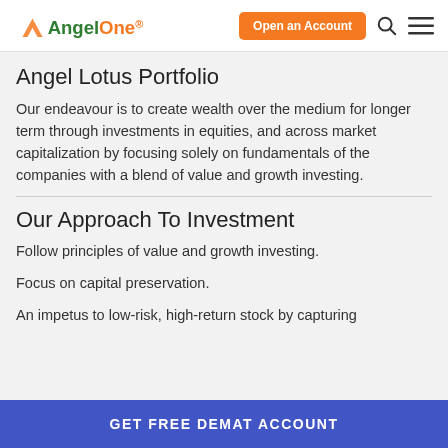AngelOne — Open an Account
Angel Lotus Portfolio
Our endeavour is to create wealth over the medium for longer term through investments in equities, and across market capitalization by focusing solely on fundamentals of the companies with a blend of value and growth investing.
Our Approach To Investment
Follow principles of value and growth investing.
Focus on capital preservation.
An impetus to low-risk, high-return stock by capturing
GET FREE DEMAT ACCOUNT